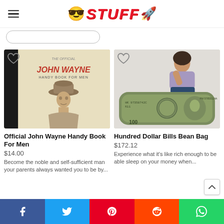STUFF
[Figure (screenshot): Search bar with rounded pill shape]
[Figure (photo): The Official John Wayne Handy Book For Men - book cover with illustration of John Wayne in cowboy hat]
[Figure (photo): Woman lying on a giant inflatable bean bag shaped like hundred dollar bills]
Official John Wayne Handy Book For Men
$14.00
Become the noble and self-sufficient man your parents always wanted you to be by...
Hundred Dollar Bills Bean Bag
$172.12
Experience what it's like rich enough to be able sleep on your money when...
f | Twitter | Pinterest | Reddit | WhatsApp